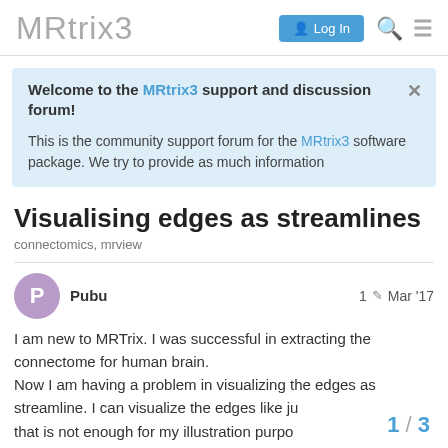MRtrix3  Log In
Welcome to the MRtrix3 support and discussion forum!

This is the community support forum for the MRtrix3 software package. We try to provide as much information
Visualising edges as streamlines
connectomics, mrview
Pubu  1  Mar '17

I am new to MRTrix. I was successful in extracting the connectome for human brain.
Now I am having a problem in visualizing the edges as streamline. I can visualize the edges like ju that is not enough for my illustration purpo
1 / 3